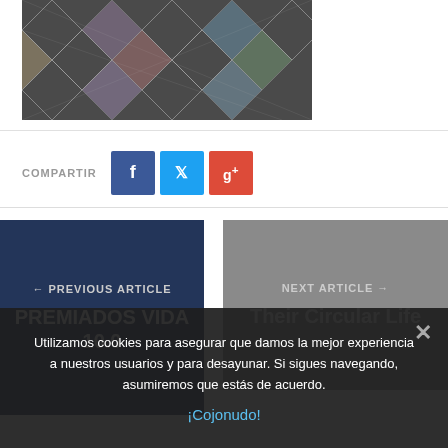[Figure (photo): Close-up photo of colorful argyle/diamond pattern fabric on dark background]
COMPARTIR
[Figure (infographic): Social share buttons: Facebook (blue), Twitter (cyan), Google+ (red)]
← PREVIOUS ARTICLE
PREMIADOS VIDA 10.0
NEXT ARTICLE →
Their Circular Life
Utilizamos cookies para asegurar que damos la mejor experiencia a nuestros usuarios y para desayunar. Si sigues navegando, asumiremos que estás de acuerdo.
¡Cojonudo!